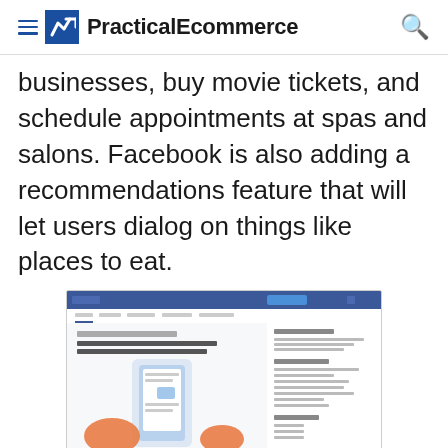PracticalEcommerce
businesses, buy movie tickets, and schedule appointments at spas and salons. Facebook is also adding a recommendations feature that will let users dialog on things like places to eat.
[Figure (screenshot): Screenshot of Facebook Newsroom page showing 'Getting Things Done With the Help of Your Friends' post with a phone graphic and sidebar menu categories.]
Facebook Newsroom.